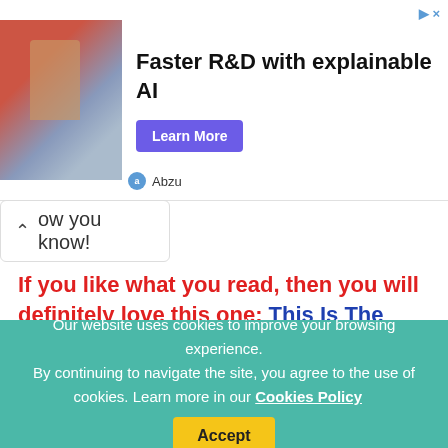[Figure (screenshot): Advertisement banner: image of people at an event on the left, text 'Faster R&D with explainable AI' in center, 'Learn More' button, close and arrow icons, Abzu brand logo below]
ow you know!
If you like what you read, then you will definitely love this one: This Is The Difference Between ‘Latino’ And ‘Hispanic’
Photo: Wikimedia, MonicaVolpin / Pixabay
Photoshop: I’m A Useless Info Junkie
Sources: Why isn’t it spelled “Philippino?” | Why is “Filipino” spelled with an “F”? | Why is Filipino spelled
Our website uses cookies to improve your browsing experience. By continuing to navigate the site, you agree to the use of cookies. Learn more in our Cookies Policy  Accept